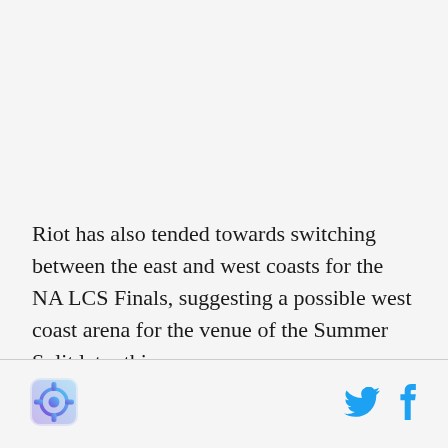Riot has also tended towards switching between the east and west coasts for the NA LCS Finals, suggesting a possible west coast arena for the venue of the Summer Split later this year.
[Figure (logo): Small square logo icon with blue/purple gradient and gear-like design in bottom-left footer]
[Figure (logo): Twitter bird icon in cyan/blue color in bottom-right footer]
[Figure (logo): Facebook 'f' icon in cyan/blue color in bottom-right footer]